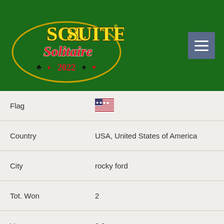[Figure (logo): SolSuite Solitaire 2022 logo on dark green background with card suits]
| Field | Value |
| --- | --- |
| Flag | 🇺🇸 |
| Country | USA, United States of America |
| City | rocky ford |
| Tot. Won | 2 |
| Ver. | 8.9 |
| Date | 6 Oct 08 |
| N. | 20 |